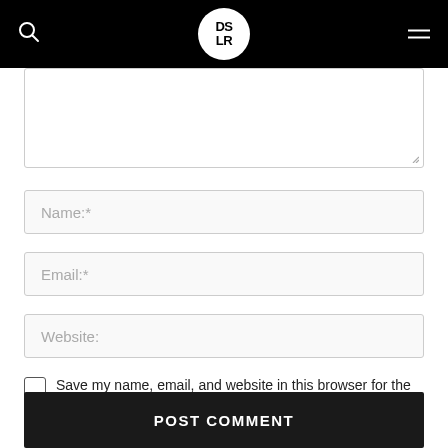DSLR logo header with search and menu icons
[Figure (screenshot): Partial comment form textarea (top portion cut off), showing resize handle at bottom right]
Name:*
Email:*
Website:
Save my name, email, and website in this browser for the next time I comment.
POST COMMENT